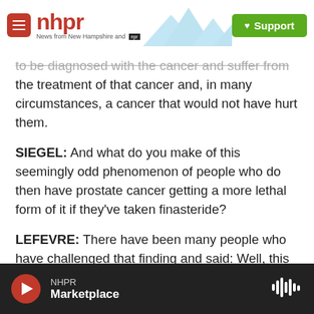nhpr - News from New Hampshire and NPR | Support
to be diagnosed with the cancer and suffer from the treatment of that cancer and, in many circumstances, a cancer that would not have hurt them.
SIEGEL: And what do you make of this seemingly odd phenomenon of people who do then have prostate cancer getting a more lethal form of it if they've taken finasteride?
LEFEVRE: There have been many people who have challenged that finding and said: Well, this is really because of the way we looked for cancers or some of the other, we would call biases associated with
NHPR - Marketplace